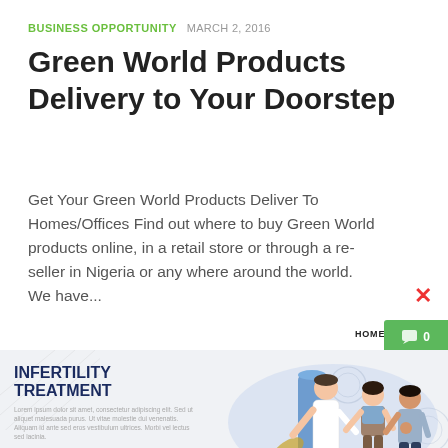BUSINESS OPPORTUNITY  MARCH 2, 2016
Green World Products Delivery to Your Doorstep
Get Your Green World Products Deliver To Homes/Offices Find out where to buy Green World products online, in a retail store or through a re-seller in Nigeria or any where around the world. We have...
[Figure (screenshot): Screenshot of a website showing HOME and NEWS navigation, a green chat bubble with '0', and a card titled 'INFERTILITY TREATMENT' with lorem ipsum body text and a blue READ MORE button, alongside an illustration of a doctor and a couple.]